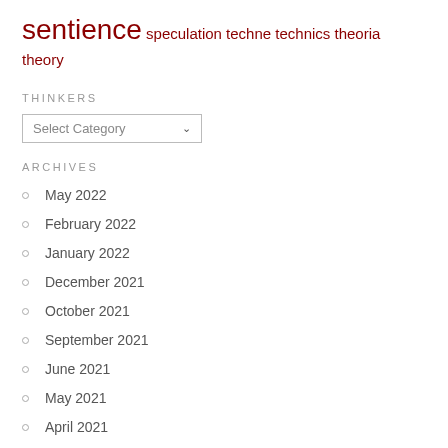sentience speculation techne technics theoria theory
THINKERS
Select Category
ARCHIVES
May 2022
February 2022
January 2022
December 2021
October 2021
September 2021
June 2021
May 2021
April 2021
March 2021
February 2021